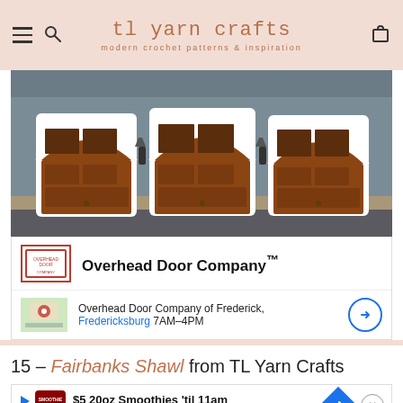tl yarn crafts — modern crochet patterns & inspiration
[Figure (photo): Three wooden garage doors with arched tops and glass pane windows on a house with gray siding and stone base]
Overhead Door Company™
Overhead Door Company of Frederick, Fredericksburg 7AM–4PM
15 – Fairbanks Shawl from TL Yarn Crafts
$5 20oz Smoothies 'til 11am Smoothie King